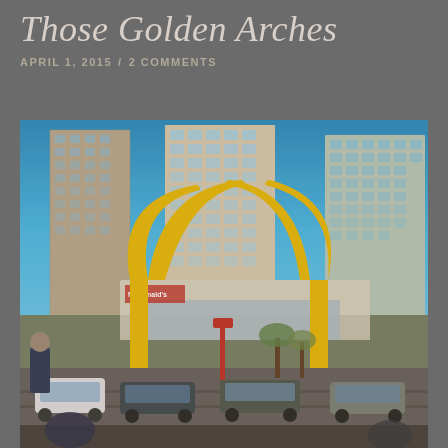Those Golden Arches
APRIL 1, 2015  /  2 COMMENTS
[Figure (photo): Street-level photograph of a McDonald's restaurant with large yellow golden arches sign structure in the foreground, tall residential/commercial buildings in the background against a blue sky, cars and pedestrians visible on the street below. Image has an Instagram-style filter with enhanced colors.]